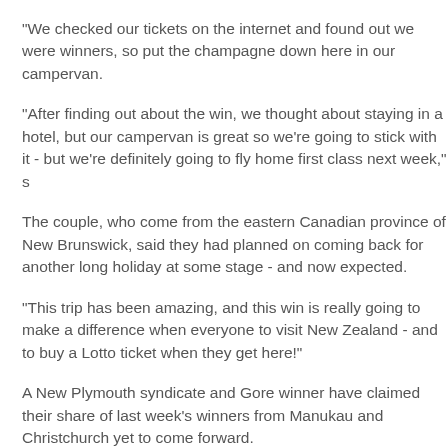"We checked our tickets on the internet and found out we were winners, so put the champagne down here in our campervan.
"After finding out about the win, we thought about staying in a hotel, but our campervan is great so we're going to stick with it - but we're definitely going to fly home first class next week," she said.
The couple, who come from the eastern Canadian province of New Brunswick, said before winning they had planned on coming back for another long holiday at some stage - and now they'd be back sooner than expected.
"This trip has been amazing, and this win is really going to make a difference when we get home. We encourage everyone to visit New Zealand - and to buy a Lotto ticket when they get here!"
A New Plymouth syndicate and Gore winner have claimed their share of last week's prize, with winners from Manukau and Christchurch yet to come forward.